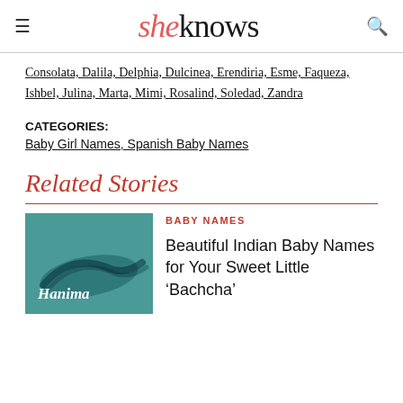sheknows
Consolata, Dalila, Delphia, Dulcinea, Erendiria, Esme, Faqueza, Ishbel, Julina, Marta, Mimi, Rosalind, Soledad, Zandra
CATEGORIES: Baby Girl Names, Spanish Baby Names
Related Stories
BABY NAMES
Beautiful Indian Baby Names for Your Sweet Little 'Bachcha'